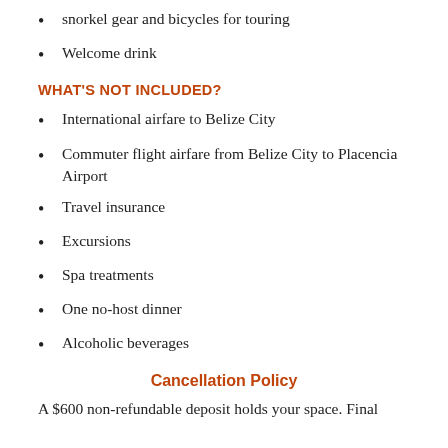snorkel gear and bicycles for touring
Welcome drink
WHAT'S NOT INCLUDED?
International airfare to Belize City
Commuter flight airfare from Belize City to Placencia Airport
Travel insurance
Excursions
Spa treatments
One no-host dinner
Alcoholic beverages
Cancellation Policy
A $600 non-refundable deposit holds your space. Final